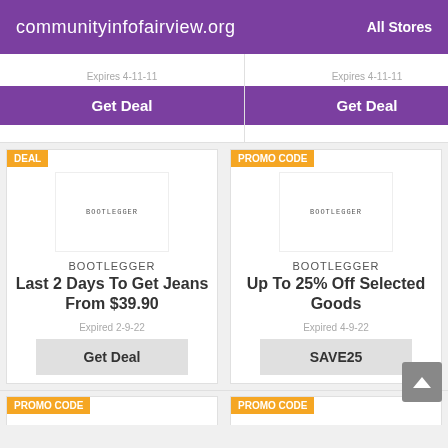communityinfofairview.org   All Stores
Expired 4-11-11
Expired 4-11-11
Get Deal
Get Deal
DEAL
PROMO CODE
[Figure (logo): Bootlegger store logo placeholder]
[Figure (logo): Bootlegger store logo placeholder]
BOOTLEGGER
Last 2 Days To Get Jeans From $39.90
Expired 2-9-22
Get Deal
BOOTLEGGER
Up To 25% Off Selected Goods
Expired 4-9-22
SAVE25
PROMO CODE
PROMO CODE